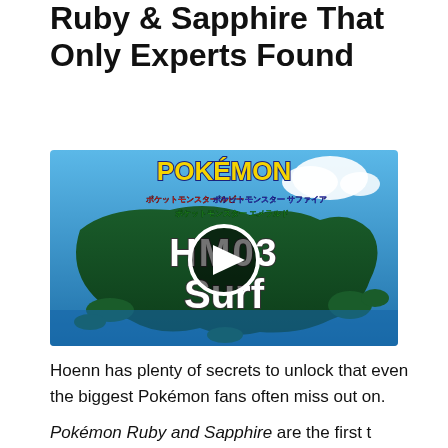Ruby & Sapphire That Only Experts Found
[Figure (screenshot): Video thumbnail showing the Hoenn region map from Pokémon Ruby/Sapphire/Emerald with text 'HM03 Surf' overlaid and a play button in the center. Pokémon logo and Japanese text visible at top.]
Hoenn has plenty of secrets to unlock that even the biggest Pokémon fans often miss out on.
Pokémon Ruby and Sapphire are the first...